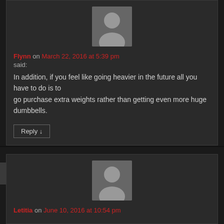[Figure (illustration): Default grey avatar/user placeholder icon for commenter Flynn]
Flynn on March 22, 2016 at 5:39 pm
said:
In addition, if you feel like going heavier in the future all you have to do is to go purchase extra weights rather than getting even more huge dumbbells.
Reply ↓
[Figure (illustration): Default grey avatar/user placeholder icon for commenter Letitia]
Letitia on June 10, 2016 at 10:54 pm